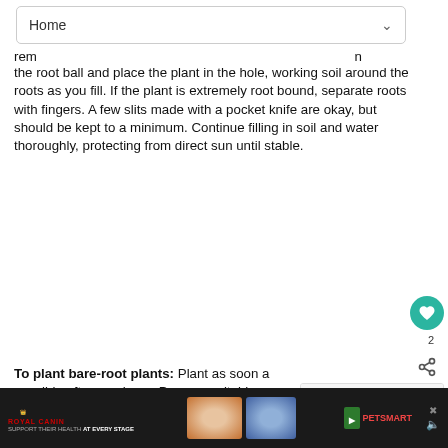Home
remove the root ball and place the plant in the hole, working soil around the roots as you fill. If the plant is extremely root bound, separate roots with fingers. A few slits made with a pocket knife are okay, but should be kept to a minimum. Continue filling in soil and water thoroughly, protecting from direct sun until stable.
To plant bare-root plants: Plant as soon as possible after purchase. Prepare suitable planting holes, spread roots and work soil among roots as you fill in. Water well and protect from direct sun until stable.